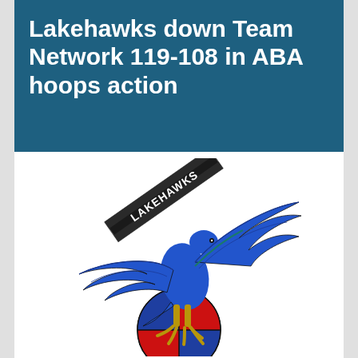Lakehawks down Team Network 119-108 in ABA hoops action
[Figure (logo): Lakehawks team logo: a blue hawk/eagle with wings spread, perched on a red, white, and blue basketball, with a diagonal banner reading 'LAKEHAWKS']